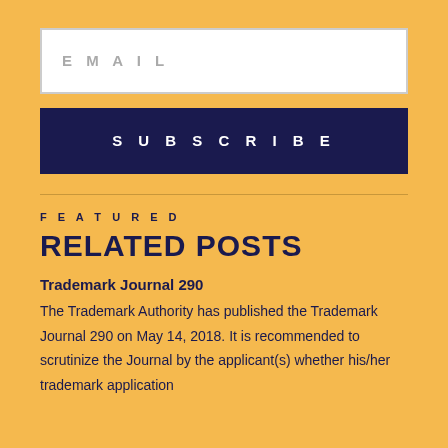EMAIL
SUBSCRIBE
FEATURED
RELATED POSTS
Trademark Journal 290
The Trademark Authority has published the Trademark Journal 290 on May 14, 2018. It is recommended to scrutinize the Journal by the applicant(s) whether his/her trademark application